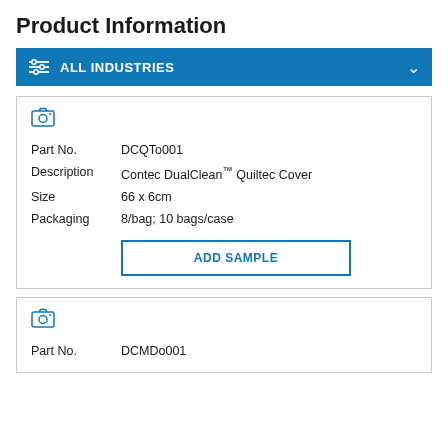Product Information
ALL INDUSTRIES
| Field | Value |
| --- | --- |
| Part No. | DCQTo001 |
| Description | Contec DualClean™ Quiltec Cover |
| Size | 66 x 6cm |
| Packaging | 8/bag; 10 bags/case |
ADD SAMPLE
| Field | Value |
| --- | --- |
| Part No. | DCMDo001 |